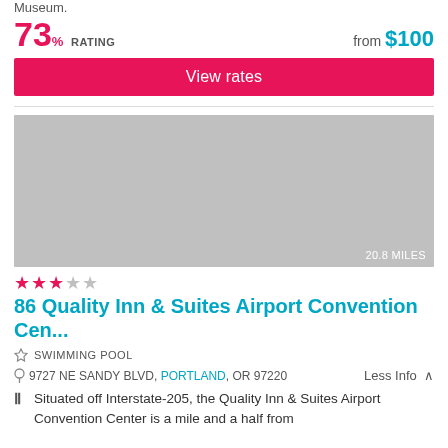Museum.
73% RATING   from $100
View rates
[Figure (photo): Gray placeholder hotel image with '20.8 MILES' badge]
★★★☆☆
86 Quality Inn & Suites Airport Convention Cen...
SWIMMING POOL
9727 NE SANDY BLVD, PORTLAND, OR 97220    Less Info ^
Situated off Interstate-205, the Quality Inn & Suites Airport Convention Center is a mile and a half from